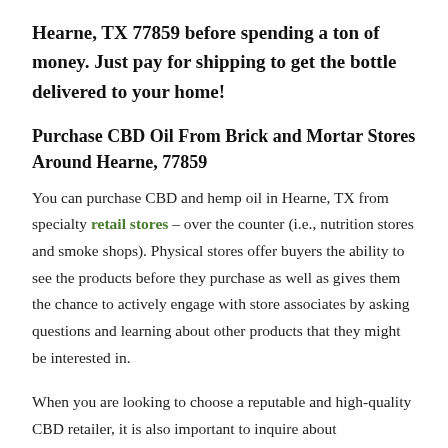Hearne, TX 77859 before spending a ton of money. Just pay for shipping to get the bottle delivered to your home!
Purchase CBD Oil From Brick and Mortar Stores Around Hearne, 77859
You can purchase CBD and hemp oil in Hearne, TX from specialty retail stores – over the counter (i.e., nutrition stores and smoke shops). Physical stores offer buyers the ability to see the products before they purchase as well as gives them the chance to actively engage with store associates by asking questions and learning about other products that they might be interested in.
When you are looking to choose a reputable and high-quality CBD retailer, it is also important to inquire about